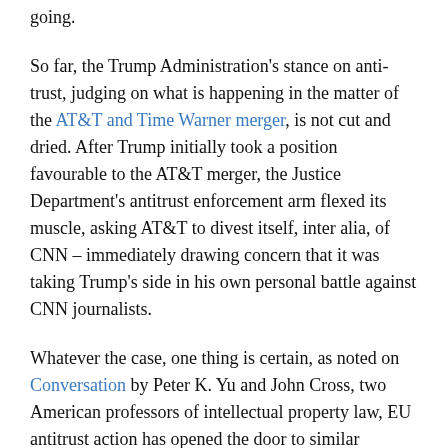going.
So far, the Trump Administration's stance on anti-trust, judging on what is happening in the matter of the AT&T and Time Warner merger, is not cut and dried. After Trump initially took a position favourable to the AT&T merger, the Justice Department's antitrust enforcement arm flexed its muscle, asking AT&T to divest itself, inter alia, of CNN – immediately drawing concern that it was taking Trump's side in his own personal battle against CNN journalists.
Whatever the case, one thing is certain, as noted on Conversation by Peter K. Yu and John Cross, two American professors of intellectual property law, EU antitrust action has opened the door to similar activities in other countries, for example, China fined Qualcomm in 2015, and Taiwan did the same in 2017.